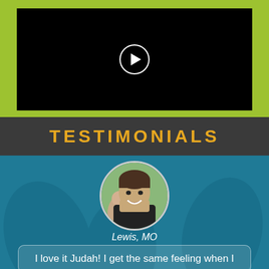[Figure (screenshot): Video player thumbnail with black background and white circular play button in center]
TESTIMONIALS
[Figure (photo): Circular portrait photo of a smiling man, outdoor setting with green trees in background]
Lewis, MO
I love it Judah! I get the same feeling when I